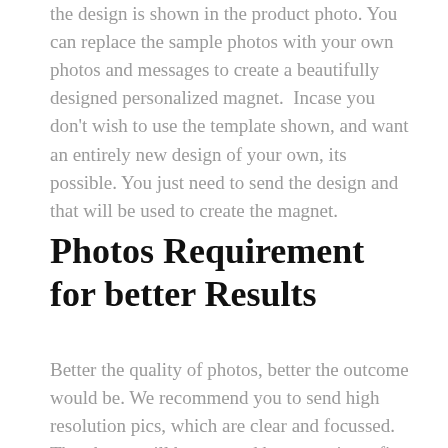the design is shown in the product photo. You can replace the sample photos with your own photos and messages to create a beautifully designed personalized magnet.  Incase you don't wish to use the template shown, and want an entirely new design of your own, its possible. You just need to send the design and that will be used to create the magnet.
Photos Requirement for better Results
Better the quality of photos, better the outcome would be. We recommend you to send high resolution pics, which are clear and focussed. The photos will be cropped by our artist to fit the template. You need not worry how will it come out on the product, as we have artist who places your photos in the template. Its not an automatic